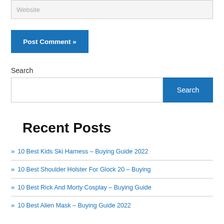Website
Post Comment »
Search
Search
Recent Posts
» 10 Best Kids Ski Harness – Buying Guide 2022
» 10 Best Shoulder Holster For Glock 20 – Buying
» 10 Best Rick And Morty Cosplay – Buying Guide
» 10 Best Alien Mask – Buying Guide 2022